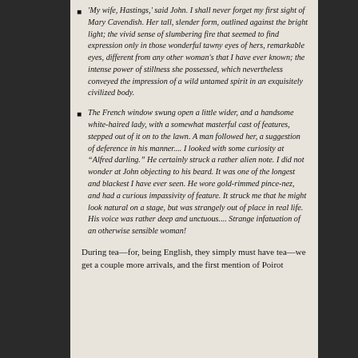'My wife, Hastings,' said John. I shall never forget my first sight of Mary Cavendish. Her tall, slender form, outlined against the bright light; the vivid sense of slumbering fire that seemed to find expression only in those wonderful tawny eyes of hers, remarkable eyes, different from any other woman's that I have ever known; the intense power of stillness she possessed, which nevertheless conveyed the impression of a wild untamed spirit in an exquisitely civilized body.
The French window swung open a little wider, and a handsome white-haired lady, with a somewhat masterful cast of features, stepped out of it on to the lawn. A man followed her, a suggestion of deference in his manner.... I looked with some curiosity at "Alfred darling." He certainly struck a rather alien note. I did not wonder at John objecting to his beard. It was one of the longest and blackest I have ever seen. He wore gold-rimmed pince-nez, and had a curious impassivity of feature. It struck me that he might look natural on a stage, but was strangely out of place in real life. His voice was rather deep and unctuous.... Strange infatuation of an otherwise sensible woman!
During tea—for, being English, they simply must have tea—we get a couple more arrivals, and the first mention of Poirot